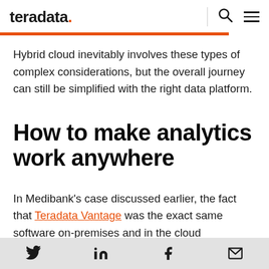teradata.
Hybrid cloud inevitably involves these types of complex considerations, but the overall journey can still be simplified with the right data platform.
How to make analytics work anywhere
In Medibank's case discussed earlier, the fact that Teradata Vantage was the exact same software on-premises and in the cloud
Twitter LinkedIn Facebook Email